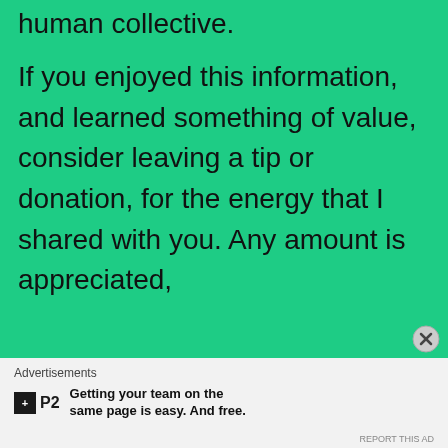human collective.
If you enjoyed this information, and learned something of value, consider leaving a tip or donation, for the energy that I shared with you. Any amount is appreciated,
Advertisements
Getting your team on the same page is easy. And free.